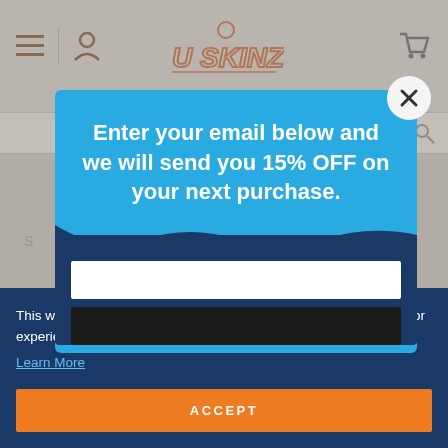[Figure (screenshot): USkinz website header with logo, hamburger menu, user icon, search bar, and shopping cart icon, shown dimmed in the background]
[Figure (screenshot): Email signup popup modal with blue background. Text reads: Enter your email below and we will send you 15% OFF on your next purchase. Has a close (X) button in the top right corner, an email input field, and a dark subscribe button.]
This website uses cookies to ensure you get the best possible visitor experience.
Learn More
ACCEPT